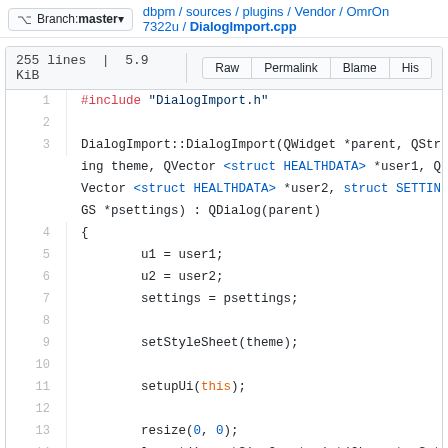Branch: master  dbpm / sources / plugins / Vendor / OmrOn7322u / DialogImport.cpp
255 lines | 5.9 KiB  Raw  Permalink  Blame  His
[Figure (screenshot): Source code viewer showing DialogImport.cpp lines 1-14. Line 1: #include "DialogImport.h". Line 3: DialogImport::DialogImport(QWidget *parent, QString theme, QVector <struct HEALTHDATA> *user1, QVector <struct HEALTHDATA> *user2, struct SETTINGS *psettings) : QDialog(parent). Line 4: {. Line 5: u1 = user1;. Line 6: u2 = user2;. Line 7: settings = psettings;. Line 9: setStyleSheet(theme);. Line 11: setupUi(this);. Line 13: resize(0, 0);. Line 14: layout()->setSizeConstraint(QLayout::Set]